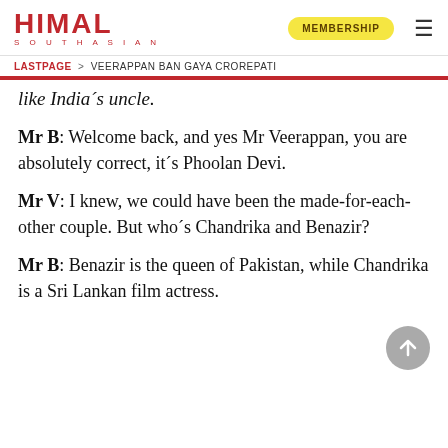HIMAL SOUTHASIAN — MEMBERSHIP
LASTPAGE > VEERAPPAN BAN GAYA CROREPATI
like India´s uncle.
Mr B: Welcome back, and yes Mr Veerappan, you are absolutely correct, it´s Phoolan Devi.
Mr V: I knew, we could have been the made-for-each-other couple. But who´s Chandrika and Benazir?
Mr B: Benazir is the queen of Pakistan, while Chandrika is a Sri Lankan film actress.